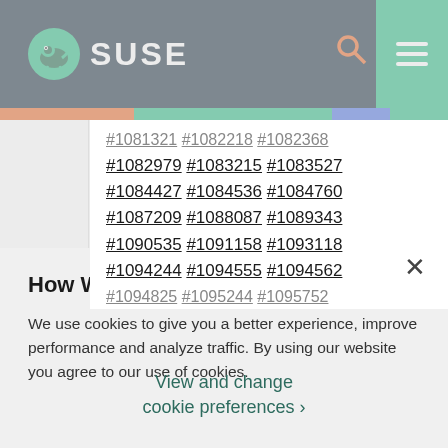SUSE
#1082979 #1083215 #1083527 #1084427 #1084536 #1084760 #1087209 #1088087 #1089343 #1090535 #1091158 #1093118 #1094244 #1094555 #1094562 #1094825 #1095244 #1095752
How We Use Cookies
We use cookies to give you a better experience, improve performance and analyze traffic. By using our website you agree to our use of cookies.
View and change cookie preferences >